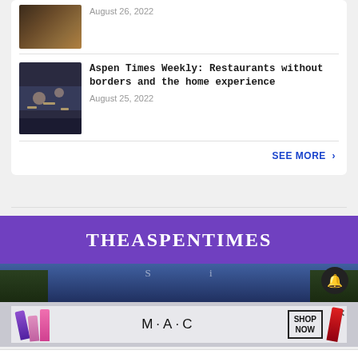[Figure (photo): Thumbnail photo, partially visible, appears to show a drink or food item on a wooden surface]
August 26, 2022
[Figure (photo): Thumbnail photo of a dining table with candles and people gathered around it, overhead view]
Aspen Times Weekly: Restaurants without borders and the home experience
August 25, 2022
SEE MORE >
[Figure (logo): The Aspen Times logo on purple banner background with scenic photo below]
[Figure (advertisement): MAC Cosmetics advertisement showing lipsticks and SHOP NOW box]
Home   Trending   Sections